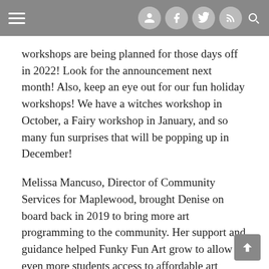Navigation header with hamburger menu and social icons (user, facebook, twitter, rss, search)
workshops are being planned for those days off in 2022! Look for the announcement next month! Also, keep an eye out for our fun holiday workshops!  We have a witches workshop in October, a Fairy workshop in January, and so many fun surprises that will be popping up in December!
Melissa Mancuso, Director of Community Services for Maplewood, brought Denise on board back in 2019 to bring more art programming to the community. Her support and guidance helped Funky Fun Art grow to allow even more students access to affordable art classes.   “The creativity coming out of Denise and her staff is endless.  Every day is colorful and vibrant, and an instant mood elevator for campers and adults alike